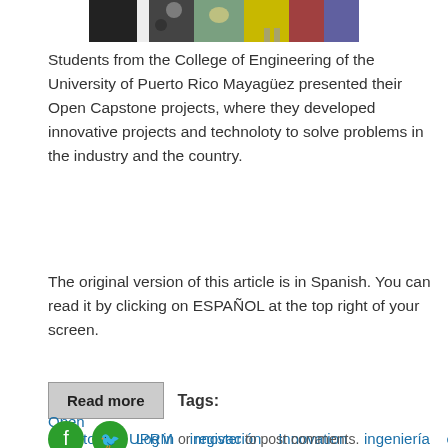[Figure (photo): Partial photo of students at a table with colorful background, top portion visible]
Students from the College of Engineering of the University of Puerto Rico Mayagüez presented their Open Capstone projects, where they developed innovative projects and technoloty to solve problems in the industry and the country.
The original version of this article is in Spanish. You can read it by clicking on ESPAÑOL at the top right of your screen.
Read more   Tags:
Open Capstone   UPRM   innovación   Innovation   ingeniería   engi
Log in or register to post comments.